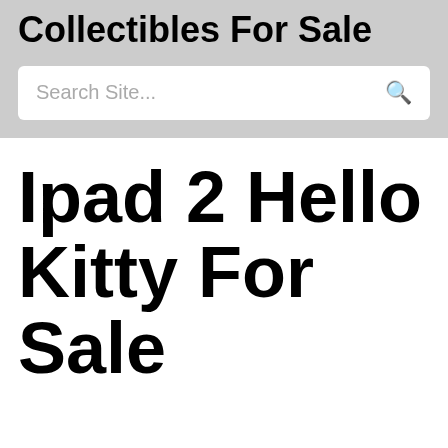Collectibles For Sale
Search Site...
Ipad 2 Hello Kitty For Sale